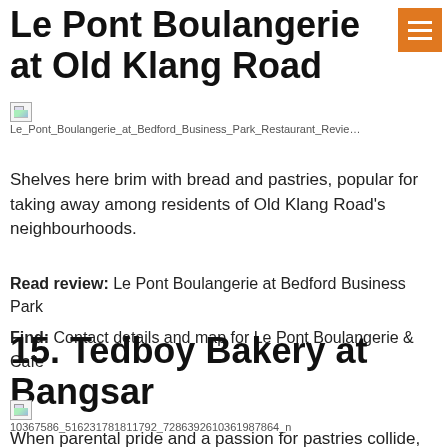Le Pont Boulangerie at Old Klang Road
[Figure (photo): Broken image placeholder for Le_Pont_Boulangerie_at_Bedford_Business_Park_Restaurant_Review]
Shelves here brim with bread and pastries, popular for taking away among residents of Old Klang Road's neighbourhoods.
Read review: Le Pont Boulangerie at Bedford Business Park
Find: Contact details and map for Le Pont Boulangerie & Cafe
15. Tedboy Bakery at Bangsar
[Figure (photo): Broken image placeholder: 10367586_516231781811792_7286392610361987864_n]
When parental pride and a passion for pastries collide, the offspring is Tedboy Bakery, owned by a bread-loving couple